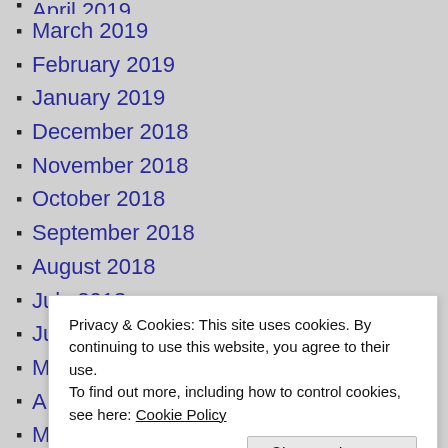April 2019 (partial, top)
March 2019
February 2019
January 2019
December 2018
November 2018
October 2018
September 2018
August 2018
July 2018
June 2018
May 2018
April 2018
March 2018
February 2018
Privacy & Cookies: This site uses cookies. By continuing to use this website, you agree to their use. To find out more, including how to control cookies, see here: Cookie Policy
June 2017 (partial, bottom)